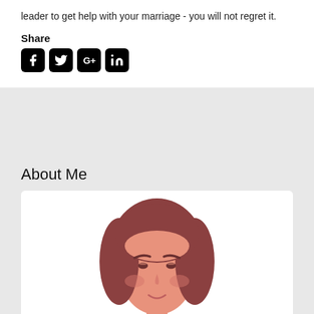leader to get help with your marriage - you will not regret it.
Share
[Figure (illustration): Social media share icons: Facebook, Twitter, Google+, LinkedIn — black rounded square buttons]
About Me
[Figure (illustration): Cartoon/flat illustration of a woman with short brown hair, peach skin, rosy cheeks, and a slight smile, shown from shoulders up on a white background]